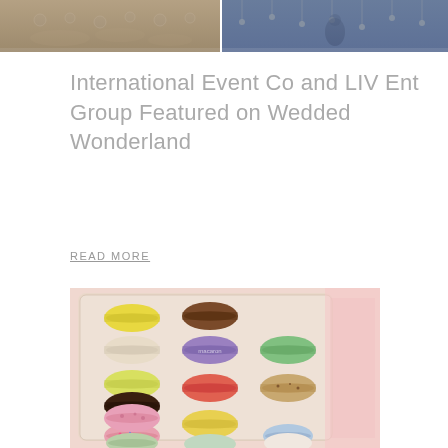[Figure (photo): Two photos side by side: left shows an event venue with table settings and floral arrangements; right shows a person at a decorated event venue with hanging lights.]
International Event Co and LIV Ent Group Featured on Wedded Wonderland
READ MORE
[Figure (photo): Box of colorful French macarons in various flavors including yellow, brown, cream, purple, pink, red, green, dark chocolate, and light colors arranged in a clear plastic tray on a pink background.]